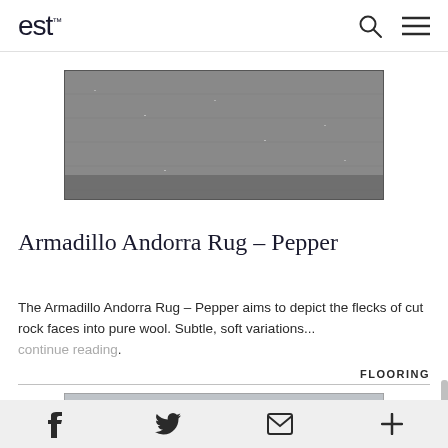est
[Figure (photo): Close-up photo of Armadillo Andorra Rug in Pepper colorway — a dark grey flecked wool texture, rectangular runner shape]
Armadillo Andorra Rug – Pepper
The Armadillo Andorra Rug – Pepper aims to depict the flecks of cut rock faces into pure wool. Subtle, soft variations... continue reading.
FLOORING
[Figure (photo): Partial view of a second rug — lighter grey/blue tones visible at the bottom of the page]
f  [twitter bird]  [email/envelope icon]  +